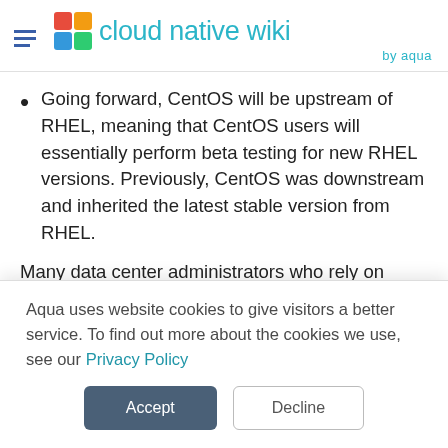cloud native wiki by aqua
Going forward, CentOS will be upstream of RHEL, meaning that CentOS users will essentially perform beta testing for new RHEL versions. Previously, CentOS was downstream and inherited the latest stable version from RHEL.
Many data center administrators who rely on
Aqua uses website cookies to give visitors a better service. To find out more about the cookies we use, see our Privacy Policy
Accept   Decline